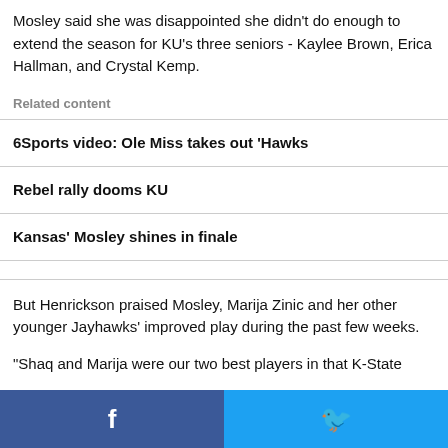Mosley said she was disappointed she didn't do enough to extend the season for KU's three seniors - Kaylee Brown, Erica Hallman, and Crystal Kemp.
Related content
6Sports video: Ole Miss takes out 'Hawks
Rebel rally dooms KU
Kansas' Mosley shines in finale
But Henrickson praised Mosley, Marija Zinic and her other younger Jayhawks' improved play during the past few weeks.
"Shaq and Marija were our two best players in that K-State
[Figure (infographic): Social media sharing bar with Facebook (blue, left) and Twitter (cyan, right) icons]